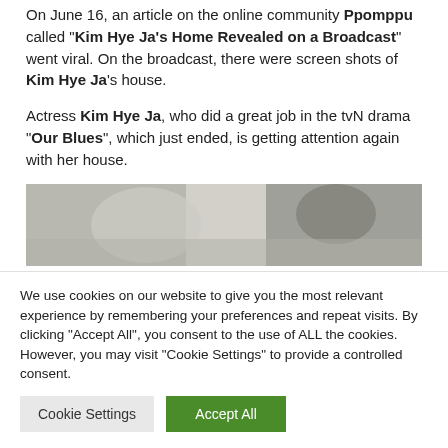On June 16, an article on the online community Ppomppu called "Kim Hye Ja's Home Revealed on a Broadcast" went viral. On the broadcast, there were screen shots of Kim Hye Ja's house.
Actress Kim Hye Ja, who did a great job in the tvN drama "Our Blues", which just ended, is getting attention again with her house.
[Figure (photo): A blurred/partially visible photograph showing what appears to be an interior or person, with muted grey and beige tones.]
We use cookies on our website to give you the most relevant experience by remembering your preferences and repeat visits. By clicking "Accept All", you consent to the use of ALL the cookies. However, you may visit "Cookie Settings" to provide a controlled consent.